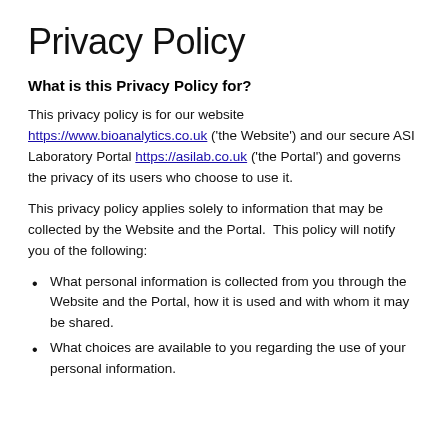Privacy Policy
What is this Privacy Policy for?
This privacy policy is for our website https://www.bioanalytics.co.uk ('the Website') and our secure ASI Laboratory Portal https://asilab.co.uk ('the Portal') and governs the privacy of its users who choose to use it.
This privacy policy applies solely to information that may be collected by the Website and the Portal.  This policy will notify you of the following:
What personal information is collected from you through the Website and the Portal, how it is used and with whom it may be shared.
What choices are available to you regarding the use of your personal information.